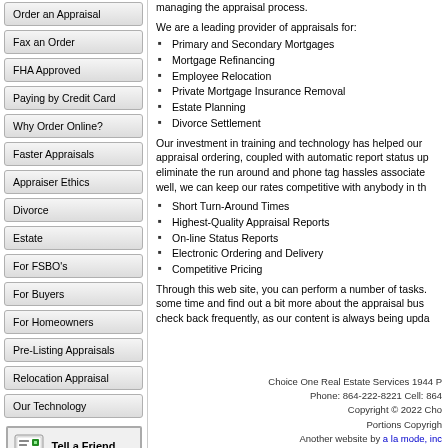Order an Appraisal
Fax an Order
FHA Approved
Paying by Credit Card
Why Order Online?
Faster Appraisals
Appraiser Ethics
Divorce
Estate
For FSBO's
For Buyers
For Homeowners
Pre-Listing Appraisals
Relocation Appraisal
Our Technology
managing the appraisal process.
We are a leading provider of appraisals for:
Primary and Secondary Mortgages
Mortgage Refinancing
Employee Relocation
Private Mortgage Insurance Removal
Estate Planning
Divorce Settlement
Our investment in training and technology has helped our appraisal ordering, coupled with automatic report status up eliminate the run around and phone tag hassles associate well, we can keep our rates competitive with anybody in th
Short Turn-Around Times
Highest-Quality Appraisal Reports
On-line Status Reports
Electronic Ordering and Delivery
Competitive Pricing
Through this web site, you can perform a number of tasks. some time and find out a bit more about the appraisal bus check back frequently, as our content is always being upda
Choice One Real Estate Services 1944 P Phone: 864-222-8221 Cell: 864 Copyright © 2022 Cho Portions Copyrigh Another website by a la mode, inc